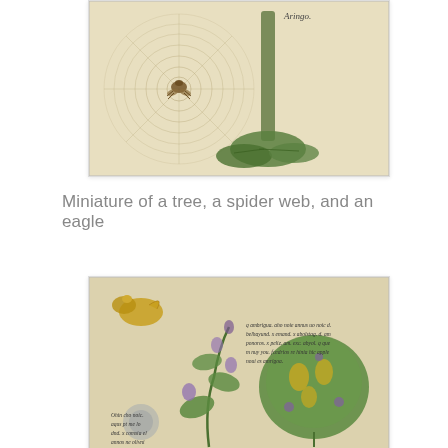[Figure (illustration): Medieval manuscript illustration showing a tree with a spiral spider web and an eagle (insect) at its center, with green foliage at the base. Text 'Aringo.' written at top right of illustration.]
Miniature of a tree, a spider web, and an eagle
[Figure (illustration): Medieval manuscript page showing botanical illustrations of flowering plants with green leaves and purple bell-shaped flowers, a large green leaf with yellow markings, and a golden bird at top left. Medieval script text visible in two blocks on the manuscript.]